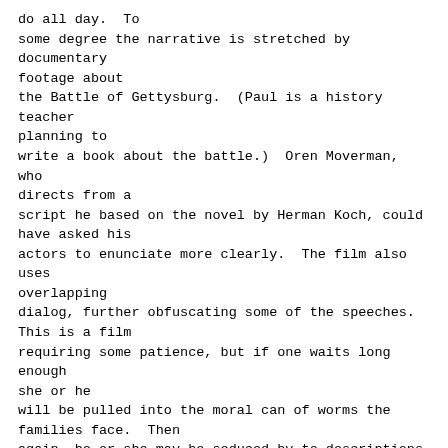do all day.  To
some degree the narrative is stretched by documentary
footage about
the Battle of Gettysburg.  (Paul is a history teacher
planning to
write a book about the battle.)  Oren Moverman, who
directs from a
script he based on the novel by Herman Koch, could
have asked his
actors to enunciate more clearly.  The film also uses
overlapping
dialog, further obfuscating some of the speeches.
This is a film
requiring some patience, but if one waits long enough
she or he
will be pulled into the moral can of worms the
families face.  Then
again, he or she may be seduced by to descriptions
and images of
the marvelous food.  This film is available from
either of the
NetFlix services.  Rating: low +1
VICTORIA & ABDUL
This film is based on a true story that pitted
xenophobia against
xenophilia in the household of Queen Vitoria.  Abdul
is a Muslim
living in Agra almost in the shadow of the Taj
Mahal.  He is chosen